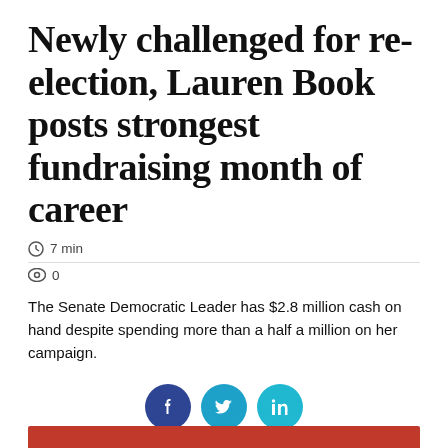Newly challenged for re-election, Lauren Book posts strongest fundraising month of career
7 min
0
The Senate Democratic Leader has $2.8 million cash on hand despite spending more than a half a million on her campaign.